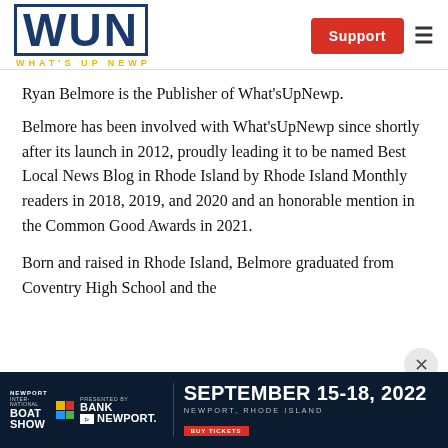[Figure (logo): WUN What's Up Newp logo — blue block letters WUN with gold text WHAT'S UP NEWP below]
Support
Ryan Belmore is the Publisher of What'sUpNewp.
Belmore has been involved with What'sUpNewp since shortly after its launch in 2012, proudly leading it to be named Best Local News Blog in Rhode Island by Rhode Island Monthly readers in 2018, 2019, and 2020 and an honorable mention in the Common Good Awards in 2021.
Born and raised in Rhode Island, Belmore graduated from Coventry High School and the
[Figure (infographic): Newport International Boat Show advertisement banner — dark navy background, text: NEWPORT INTERNATIONAL BOAT SHOW, Presented by BANK NEWPORT, SEPTEMBER 15-18, 2022, NEWPORT, RHODE ISLAND, BUY TICKETS button]